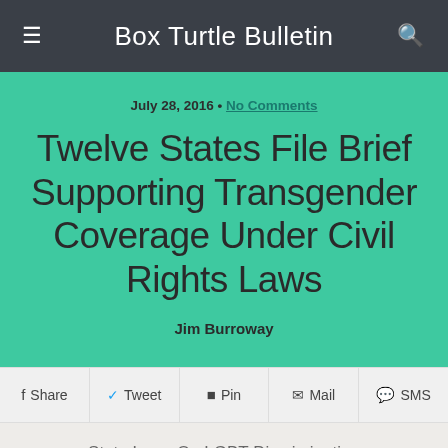Box Turtle Bulletin
July 28, 2016 • No Comments
Twelve States File Brief Supporting Transgender Coverage Under Civil Rights Laws
Jim Burroway
f Share   Tweet   Pin   Mail   SMS
State Laws On LGBT Discrimination